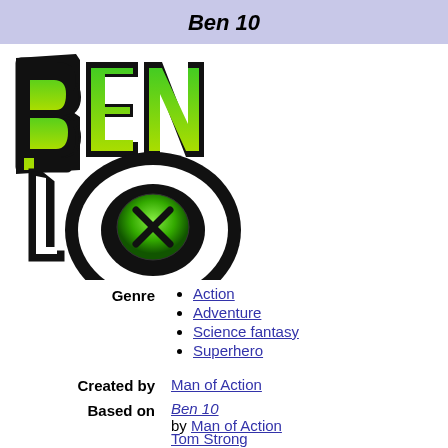Ben 10
[Figure (logo): Ben 10 logo with large stylized green and yellow 'BEN' text above a bold '10' with an Omnitrix symbol (circular green dial) in the zero]
| Genre | Action, Adventure, Science fantasy, Superhero |
| Created by | Man of Action |
| Based on | Ben 10 by Man of Action |